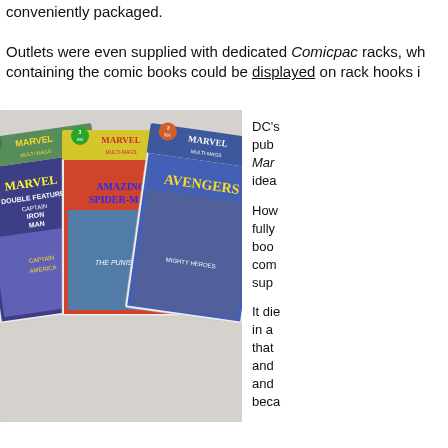conveniently packaged.
Outlets were even supplied with dedicated Comicpac racks, wh containing the comic books could be displayed on rack hooks i
[Figure (photo): Three Marvel Multi-Mags comic book packages in plastic bags, fanned out showing Marvel Double Feature (Captain America and Iron Man), Amazing Spider-Man, and Avengers covers, each marked 3 comics for 89 cents.]
DC's pub Mar idea

How fully boo com sup

It die in a that and and beca